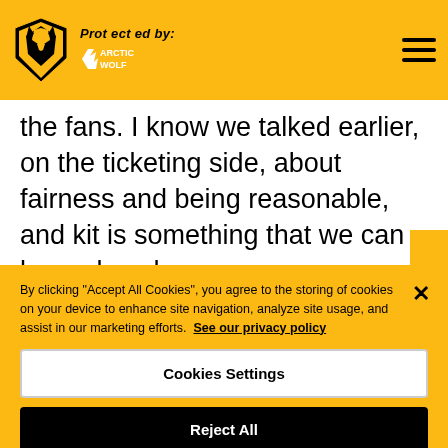Protected by: Arctic Wolf
the fans. I know we talked earlier, on the ticketing side, about fairness and being reasonable, and kit is something that we can be under where our peers are because of this new deal that we've done. And where, next year, you'll see kits in the Premier League around £65-70, we are still going to be £55
By clicking "Accept All Cookies", you agree to the storing of cookies on your device to enhance site navigation, analyze site usage, and assist in our marketing efforts. See our privacy policy
Cookies Settings
Reject All
Accept All Cookies